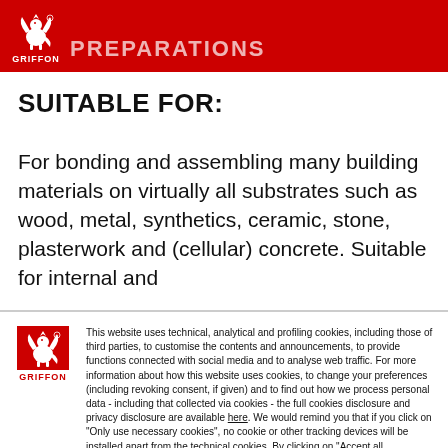GRIFFON — PREPARATIONS
SUITABLE FOR:
For bonding and assembling many building materials on virtually all substrates such as wood, metal, synthetics, ceramic, stone, plasterwork and (cellular) concrete. Suitable for internal and
This website uses technical, analytical and profiling cookies, including those of third parties, to customise the contents and announcements, to provide functions connected with social media and to analyse web traffic. For more information about how this website uses cookies, to change your preferences (including revoking consent, if given) and to find out how we process personal data - including that collected via cookies - the full cookies disclosure and privacy disclosure are available here. We would remind you that if you click on "Only use necessary cookies", no cookie or other tracking devices will be installed apart from the technical cookies. By clicking on "Accept all